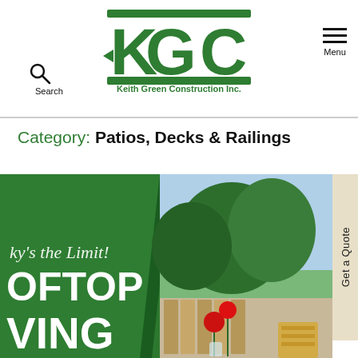Keith Green Construction Inc. — Search | Menu
[Figure (logo): KGC logo with text 'Keith Green Construction Inc.' in dark green]
Category: Patios, Decks & Railings
[Figure (photo): Rooftop living promotional image showing green text overlay 'Sky's the Limit! Rooftop Living' on dark green background, with a photo of trees, red roses in vase, and wooden outdoor furniture on a deck]
Get a Quote